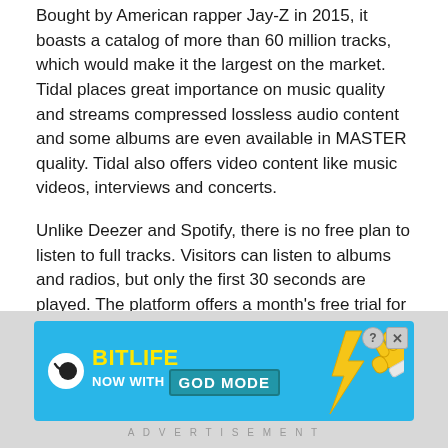Bought by American rapper Jay-Z in 2015, it boasts a catalog of more than 60 million tracks, which would make it the largest on the market. Tidal places great importance on music quality and streams compressed lossless audio content and some albums are even available in MASTER quality. Tidal also offers video content like music videos, interviews and concerts.
Unlike Deezer and Spotify, there is no free plan to listen to full tracks. Visitors can listen to albums and radios, but only the first 30 seconds are played. The platform offers a month's free trial for its premium subscription to get a feel for Tidal's potential.
[Figure (infographic): BitLife advertisement banner with blue background, showing a sperm logo, BitLife text in yellow, and GOD MODE text. Has help and close buttons in top right corner. Cartoon hand pointing left visible on right side.]
ADVERTISEMENT